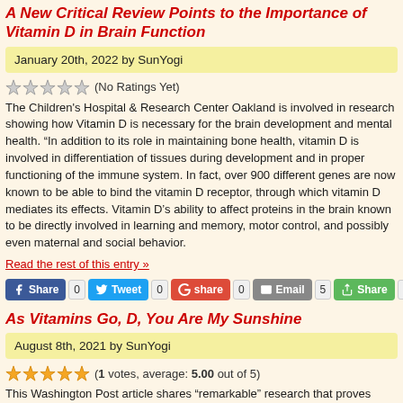A New Critical Review Points to the Importance of Vitamin D in Brain Function
January 20th, 2022 by SunYogi
(No Ratings Yet)
The Children's Hospital & Research Center Oakland is involved in research showing how Vitamin D is necessary for the brain development and mental health. “In addition to its role in maintaining bone health, vitamin D is involved in differentiation of tissues during development and in proper functioning of the immune system. In fact, over 900 different genes are now known to be able to bind the vitamin D receptor, through which vitamin D mediates its effects. Vitamin D’s ability to affect proteins in the brain known to be directly involved in learning and memory, motor control, and possibly even maternal and social behavior.
Read the rest of this entry »
Share 0  Tweet 0  share 0  Email 5  Share 8
As Vitamins Go, D, You Are My Sunshine
August 8th, 2021 by SunYogi
(1 votes, average: 5.00 out of 5)
This Washington Post article shares “remarkable” research that proves vitamin D’s benefits in longevity, bone health, increased immunity, cancer prevention